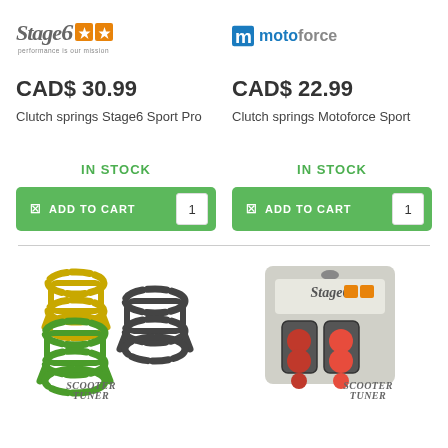[Figure (logo): Stage6 logo with orange star boxes and italic text, subtitle 'performance is our mission']
[Figure (logo): Motoforce logo with blue M icon and grey/blue text]
CAD$ 30.99
Clutch springs Stage6 Sport Pro
CAD$ 22.99
Clutch springs Motoforce Sport
IN STOCK
IN STOCK
ADD TO CART  1
ADD TO CART  1
[Figure (photo): Colorful clutch springs (yellow, green, dark grey) for scooter with Scooter Tuner watermark]
[Figure (photo): Stage6 branded clutch rollers/sliders in blister packaging with Scooter Tuner watermark]